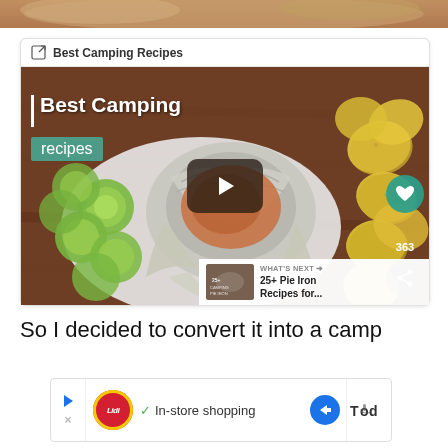[Figure (photo): Top strip of a food image - partial view of a dish]
[Figure (screenshot): Video player card titled Best Camping Recipes showing a camping dip recipe in foil with cucumbers and chips, play button overlay, heart and share icons, 363 count, and What's Next panel showing 25+ Pie Iron Recipes for...]
So I decided to convert it into a camp
[Figure (screenshot): Advertisement banner: Lidl logo, In-store shopping text, navigation arrow icon, Today logo on right]